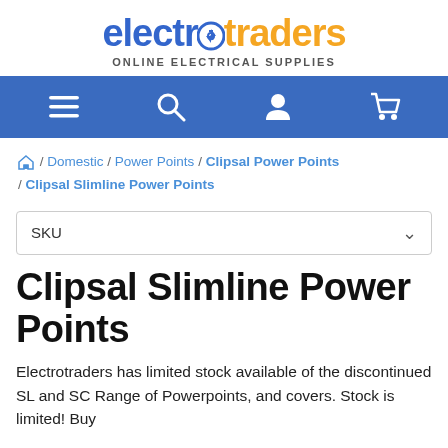[Figure (logo): Electrotraders logo with blue 'electro' and orange 'traders' text and subtitle 'ONLINE ELECTRICAL SUPPLIES']
[Figure (screenshot): Blue navigation bar with hamburger menu, search, user account, and shopping cart icons]
⌂ / Domestic / Power Points / Clipsal Power Points / Clipsal Slimline Power Points
SKU
Clipsal Slimline Power Points
Electrotraders has limited stock available of the discontinued SL and SC Range of Powerpoints, and covers. Stock is limited! Buy